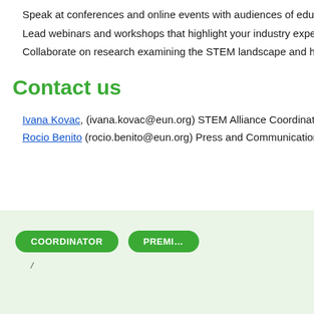Speak at conferences and online events with audiences of educatio…
Lead webinars and workshops that highlight your industry experti…
Collaborate on research examining the STEM landscape and help t…
Contact us
Ivana Kovac, (ivana.kovac@eun.org) STEM Alliance Coordinator
Rocio Benito (rocio.benito@eun.org) Press and Communications O…
COORDINATOR
PREMI…
/